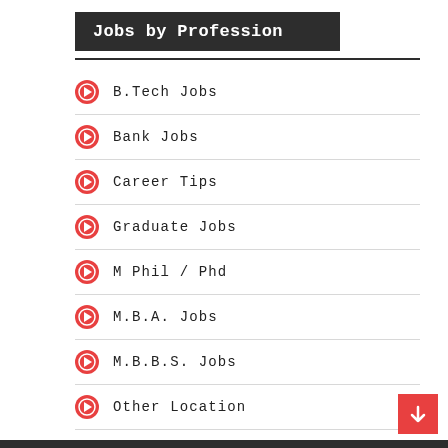Jobs by Profession
B.Tech Jobs
Bank Jobs
Career Tips
Graduate Jobs
M Phil / Phd
M.B.A. Jobs
M.B.B.S. Jobs
Other Location
Post Graduate Jobs
Railway Jobs